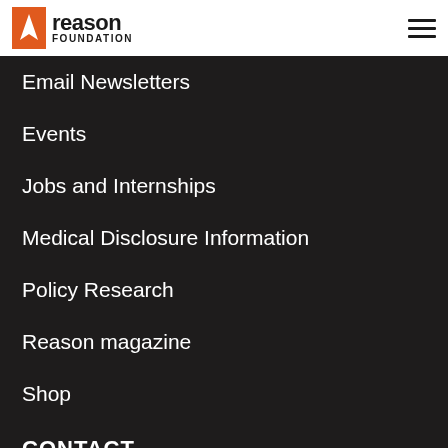Reason Foundation [logo] [hamburger menu]
Email Newsletters
Events
Jobs and Internships
Medical Disclosure Information
Policy Research
Reason magazine
Shop
CONTACT
Reason Foundation
5737 Mesmer Ave.
Los Angeles, CA 90230
(310) 391-2245